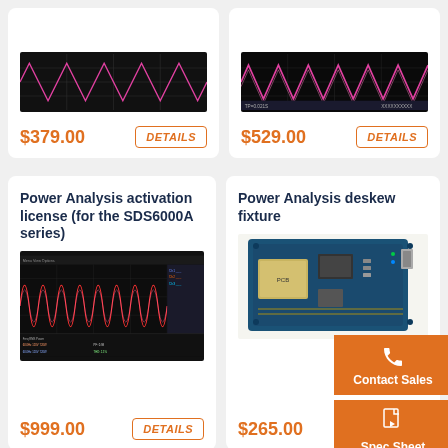[Figure (screenshot): Partial oscilloscope screenshot (top cut off), showing waveform display]
$379.00
DETAILS
[Figure (screenshot): Partial oscilloscope screenshot showing pink/magenta sine wave on dark background]
$529.00
DETAILS
Power Analysis activation license (for the SDS6000A series)
[Figure (screenshot): Power Analysis software screenshot showing red/pink waveform analysis on dark background with data tables]
$999.00
DETAILS
Power Analysis deskew fixture
[Figure (photo): Blue PCB circuit board - power analysis deskew fixture]
$265.00
Contact Sales
Spec Sheet